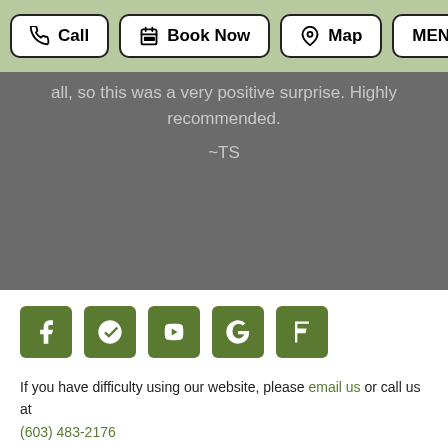Call | Book Now | Map | MENU
all, so this was a very positive surprise. Highly recommended.
~TS
[Figure (other): Row of 5 green social media icon buttons: Facebook, Yelp, YouTube, Google, Foursquare]
If you have difficulty using our website, please email us or call us at (603) 483-2176
View the ADA Accessibility Statement